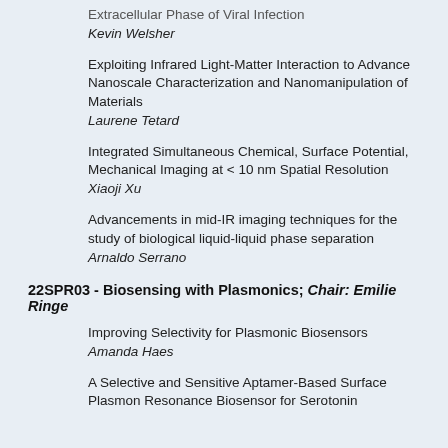Extracellular Phase of Viral Infection
Kevin Welsher
Exploiting Infrared Light-Matter Interaction to Advance Nanoscale Characterization and Nanomanipulation of Materials
Laurene Tetard
Integrated Simultaneous Chemical, Surface Potential, Mechanical Imaging at < 10 nm Spatial Resolution
Xiaoji Xu
Advancements in mid-IR imaging techniques for the study of biological liquid-liquid phase separation
Arnaldo Serrano
22SPR03 - Biosensing with Plasmonics; Chair: Emilie Ringe
Improving Selectivity for Plasmonic Biosensors
Amanda Haes
A Selective and Sensitive Aptamer-Based Surface Plasmon Resonance Biosensor for Serotonin